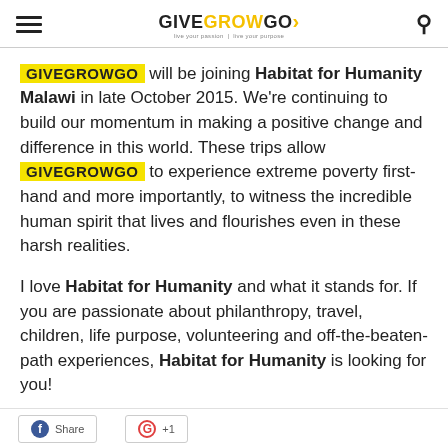GIVEGROWGO
GIVEGROWGO will be joining Habitat for Humanity Malawi in late October 2015. We're continuing to build our momentum in making a positive change and difference in this world. These trips allow GIVEGROWGO to experience extreme poverty first-hand and more importantly, to witness the incredible human spirit that lives and flourishes even in these harsh realities.
I love Habitat for Humanity and what it stands for. If you are passionate about philanthropy, travel, children, life purpose, volunteering and off-the-beaten-path experiences, Habitat for Humanity is looking for you!